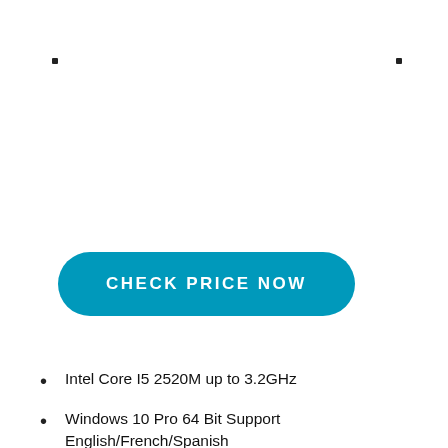[Figure (other): Teal rounded button with white uppercase text 'CHECK PRICE NOW']
Intel Core I5 2520M up to 3.2GHz
Windows 10 Pro 64 Bit Support English/French/Spanish
8G DDR3, 320G HDD, DVD
This Certified Refurbished product is tested and certified to look and work like new. The